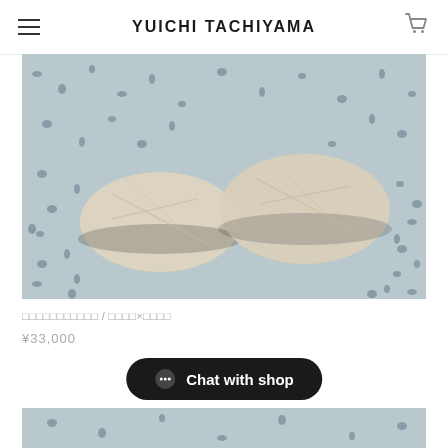YUICHI TACHIYAMA
[Figure (photo): Top-down view of two light beige/silver textured slip-on shoes placed on a granite/terrazzo speckled floor surface]
□□□□□□□□□□□ / □□□□×□□□□
¥33,000
Chat with shop
[Figure (photo): Bottom portion of another product photo showing similar terrazzo/granite floor texture]